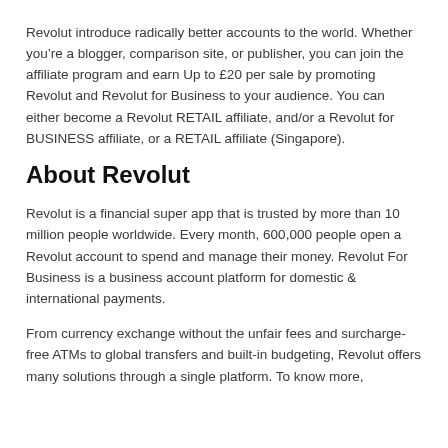Revolut introduce radically better accounts to the world. Whether you're a blogger, comparison site, or publisher, you can join the affiliate program and earn Up to £20 per sale by promoting Revolut and Revolut for Business to your audience. You can either become a Revolut RETAIL affiliate, and/or a Revolut for BUSINESS affiliate, or a RETAIL affiliate (Singapore).
About Revolut
Revolut is a financial super app that is trusted by more than 10 million people worldwide. Every month, 600,000 people open a Revolut account to spend and manage their money. Revolut For Business is a business account platform for domestic & international payments.
From currency exchange without the unfair fees and surcharge-free ATMs to global transfers and built-in budgeting, Revolut offers many solutions through a single platform. To know more,